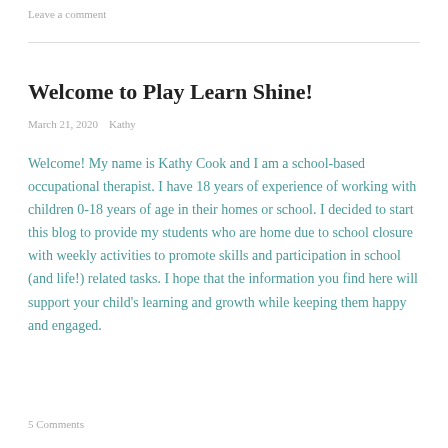Leave a comment
Welcome to Play Learn Shine!
March 21, 2020    Kathy
Welcome! My name is Kathy Cook and I am a school-based occupational therapist. I have 18 years of experience of working with children 0-18 years of age in their homes or school. I decided to start this blog to provide my students who are home due to school closure with weekly activities to promote skills and participation in school (and life!) related tasks. I hope that the information you find here will support your child's learning and growth while keeping them happy and engaged.
5 Comments